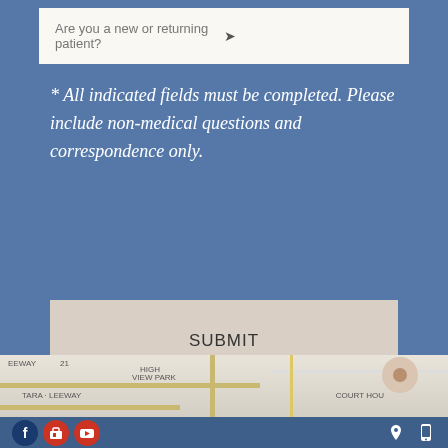[Figure (screenshot): Dropdown form field: 'Are you a new or returning patient?' with chevron]
* All indicated fields must be completed. Please include non-medical questions and correspondence only.
[Figure (screenshot): SUBMIT button with beige/tan background]
[Figure (map): Street map snippet showing High View Park, Tara-Leeway, Court House areas with a location pin marker]
Social media icons (Facebook, Google+, YouTube) on left; location pin and mobile device icons on right